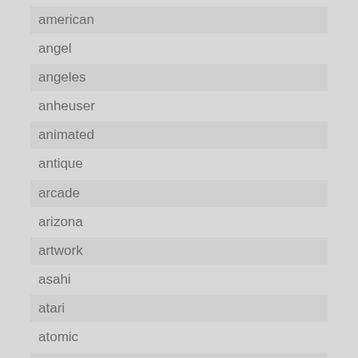american
angel
angeles
anheuser
animated
antique
arcade
arizona
artwork
asahi
atari
atomic
auctions
austin